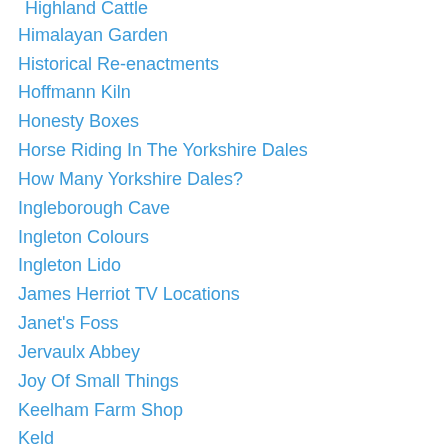Highland Cattle
Himalayan Garden
Historical Re-enactments
Hoffmann Kiln
Honesty Boxes
Horse Riding In The Yorkshire Dales
How Many Yorkshire Dales?
Ingleborough Cave
Ingleton Colours
Ingleton Lido
James Herriot TV Locations
Janet's Foss
Jervaulx Abbey
Joy Of Small Things
Keelham Farm Shop
Keld
Keld Community Welcoming Visitors
Kettlewell
Kettlewell Scarecrow Festival
Kilnsey Park
Kilnsey Village